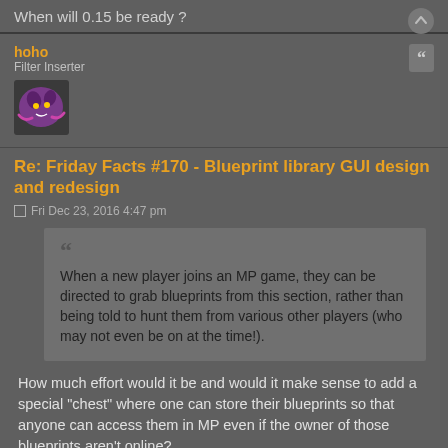When will 0.15 be ready ?
hoho
Filter Inserter
Re: Friday Facts #170 - Blueprint library GUI design and redesign
Fri Dec 23, 2016 4:47 pm
When a new player joins an MP game, they can be directed to grab blueprints from this section, rather than being told to hunt them from various other players (who may not even be on at the time!).
How much effort would it be and would it make sense to add a special "chest" where one can store their blueprints so that anyone can access them in MP even if the owner of those blueprints aren't online?